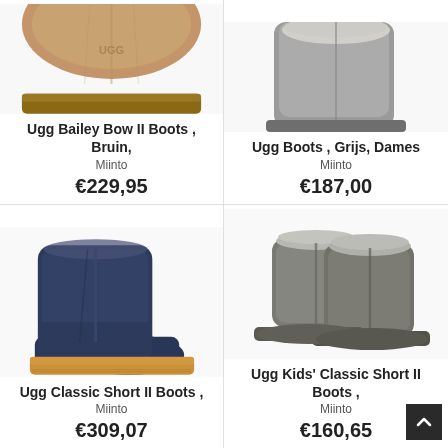[Figure (photo): Partial view of tan/brown Ugg Bailey Bow II boot (cropped at top)]
Ugg Bailey Bow II Boots , Bruin,
Miinto
€229,95
[Figure (photo): Gray Ugg boots for women (cropped at top)]
Ugg Boots , Grijs, Dames
Miinto
€187,00
[Figure (photo): Navy blue Ugg Classic Short II boot]
Ugg Classic Short II Boots ,
Miinto
€309,07
[Figure (photo): Gray Ugg Kids Classic Short II boots (pair)]
Ugg Kids' Classic Short II Boots ,
Miinto
€160,65